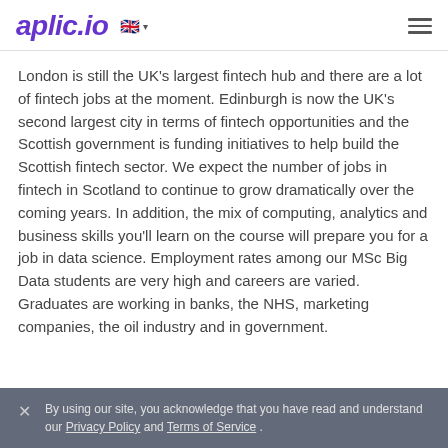aplic.io
London is still the UK’s largest fintech hub and there are a lot of fintech jobs at the moment. Edinburgh is now the UK’s second largest city in terms of fintech opportunities and the Scottish government is funding initiatives to help build the Scottish fintech sector. We expect the number of jobs in fintech in Scotland to continue to grow dramatically over the coming years. In addition, the mix of computing, analytics and business skills you’ll learn on the course will prepare you for a job in data science. Employment rates among our MSc Big Data students are very high and careers are varied. Graduates are working in banks, the NHS, marketing companies, the oil industry and in government.
By using our site, you acknowledge that you have read and understand our Privacy Policy and Terms of Service .